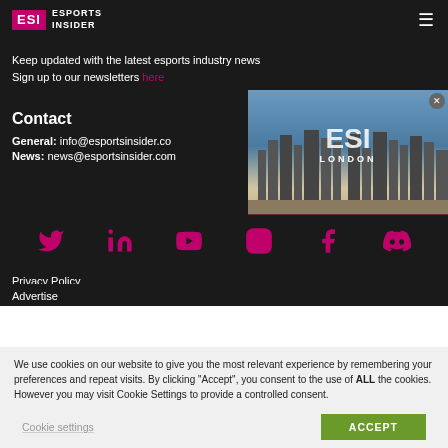ESI ESPORTS INSIDER
Keep updated with the latest esports industry news
Sign up to our newsletters here
Contact
General: info@esportsinsider.co
News: news@esportsinsider.com
[Figure (screenshot): ESI London 2022 video thumbnail showing London skyline with ESI London logo overlay and caption 'Welcome to ESI London 2022.']
[Figure (infographic): Row of social media icons: Twitter, LinkedIn, YouTube, Instagram, Facebook, Discord in pink/purple color]
Privacy Policy
Advertise
We use cookies on our website to give you the most relevant experience by remembering your preferences and repeat visits. By clicking "Accept", you consent to the use of ALL the cookies. However you may visit Cookie Settings to provide a controlled consent.
Cookie settings
ACCEPT